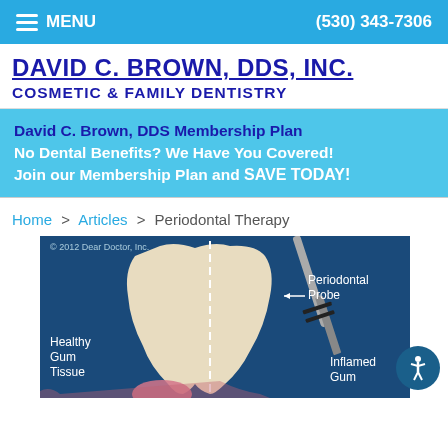MENU  (530) 343-7306
DAVID C. BROWN, DDS, INC.
COSMETIC & FAMILY DENTISTRY
David C. Brown, DDS Membership Plan
No Dental Benefits? We Have You Covered!
Join our Membership Plan and SAVE TODAY!
Home > Articles > Periodontal Therapy
[Figure (illustration): Dental illustration showing a cross-section of a tooth with labels: Periodontal Probe (arrow pointing to probe instrument), Healthy Gum Tissue (lower left), Inflamed Gum (lower right). Dashed vertical line divides the tooth. Copyright 2012 Dear Doctor, Inc.]